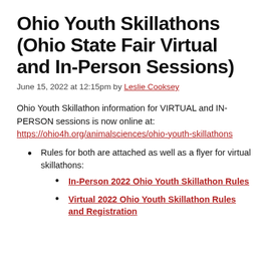Ohio Youth Skillathons (Ohio State Fair Virtual and In-Person Sessions)
June 15, 2022 at 12:15pm by Leslie Cooksey
Ohio Youth Skillathon information for VIRTUAL and IN-PERSON sessions is now online at: https://ohio4h.org/animalsciences/ohio-youth-skillathons
Rules for both are attached as well as a flyer for virtual skillathons:
In-Person 2022 Ohio Youth Skillathon Rules
Virtual 2022 Ohio Youth Skillathon Rules and Registration